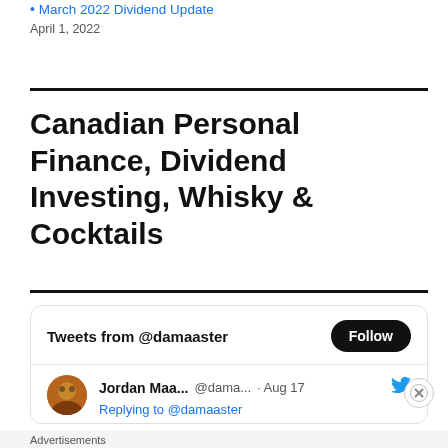March 2022 Dividend Update
April 1, 2022
Canadian Personal Finance, Dividend Investing, Whisky & Cocktails
[Figure (screenshot): Twitter/X embedded widget showing 'Tweets from @damaaster' with a Follow button, and a tweet from Jordan Maa... (@dama...) dated Aug 17 replying to @damaaster, with Twitter bird icon.]
Advertisements